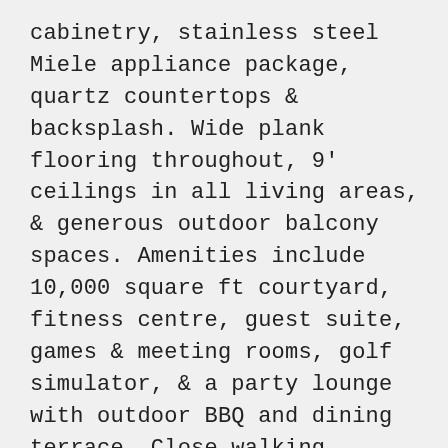cabinetry, stainless steel Miele appliance package, quartz countertops & backsplash. Wide plank flooring throughout, 9' ceilings in all living areas, & generous outdoor balcony spaces. Amenities include 10,000 square ft courtyard, fitness centre, guest suite, games & meeting rooms, golf simulator, & a party lounge with outdoor BBQ and dining terrace. Close walking distance to Metrotown & Royal Oak Skytrain stations & steps to shopping, dining, & entertainment! (id:7434)
Presented By: Unilife Realty Inc.